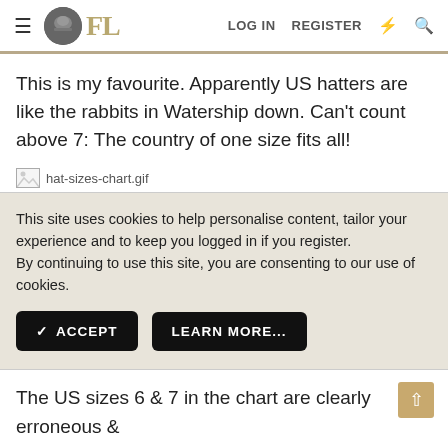FL — LOG IN  REGISTER
This is my favourite. Apparently US hatters are like the rabbits in Watership down. Can't count above 7: The country of one size fits all!
[Figure (other): Broken image placeholder for hat-sizes-chart.gif]
This site uses cookies to help personalise content, tailor your experience and to keep you logged in if you register. By continuing to use this site, you are consenting to our use of cookies.
The US sizes 6 & 7 in the chart are clearly erroneous & need to be corrected. I hope that someone new to hats doesn't rely on those numbers to his detriment.